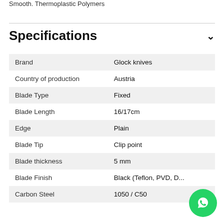Smooth. Thermoplastic Polymers
Specifications
| Property | Value |
| --- | --- |
| Brand | Glock knives |
| Country of production | Austria |
| Blade Type | Fixed |
| Blade Length | 16/17cm |
| Edge | Plain |
| Blade Tip | Clip point |
| Blade thickness | 5 mm |
| Blade Finish | Black (Teflon, PVD, D... |
| Carbon Steel | 1050 / C50 |